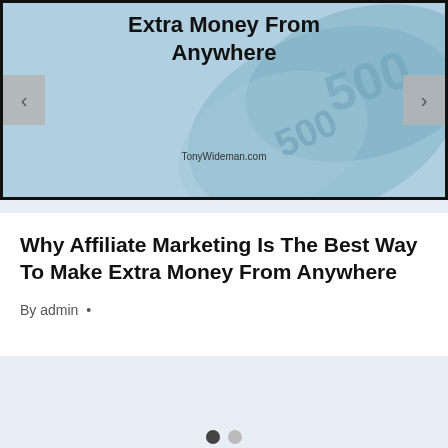[Figure (screenshot): Slider/carousel image showing money (banknotes) background with text overlay reading 'Extra Money From Anywhere' and website watermark 'TonyWideman.com', with left/right navigation arrows on sides.]
Why Affiliate Marketing Is The Best Way To Make Extra Money From Anywhere
By admin •
[Figure (other): Carousel pagination dots: one filled dark dot (active) and one light gray dot (inactive)]